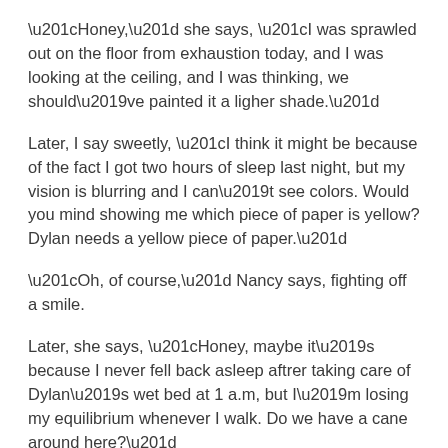“Honey,” she says, “I was sprawled out on the floor from exhaustion today, and I was looking at the ceiling, and I was thinking, we should’ve painted it a ligher shade.”
Later, I say sweetly, “I think it might be because of the fact I got two hours of sleep last night, but my vision is blurring and I can’t see colors. Would you mind showing me which piece of paper is yellow? Dylan needs a yellow piece of paper.”
“Oh, of course,” Nancy says, fighting off a smile.
Later, she says, “Honey, maybe it’s because I never fell back asleep aftrer taking care of Dylan’s wet bed at 1 a.m, but I’m losing my equilibrium whenever I walk. Do we have a cane around here?”
And so it goes.
Later, I say, lispy and slurred, “Honey, what’s my middle